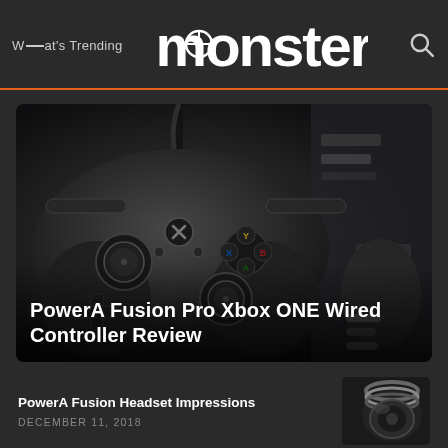What's Trending  monster
[Figure (photo): Close-up photo of a black Xbox ONE wired gaming controller (PowerA Fusion Pro) with face buttons (A, B, X, Y), thumbsticks, d-pad, and Xbox logo visible. Dark moody background with another controller visible on the right side.]
PowerA Fusion Pro Xbox ONE Wired Controller Review
PowerA Fusion Headset Impressions
DECEMBER 11, 2018
[Figure (photo): Partial close-up of a black gaming headset (PowerA Fusion) showing the ear cup and headband from below, with metallic chrome and black matte finish.]